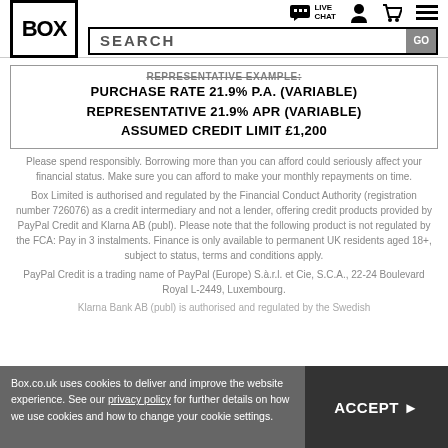BOX | LIVE CHAT | [user icon] | [cart icon] | [menu icon]
SEARCH GO
REPRESENTATIVE EXAMPLE: PURCHASE RATE 21.9% P.A. (VARIABLE) REPRESENTATIVE 21.9% APR (VARIABLE) ASSUMED CREDIT LIMIT £1,200
Please spend responsibly. Borrowing more than you can afford could seriously affect your financial status. Make sure you can afford to make your monthly repayments on time.
Box Limited is authorised and regulated by the Financial Conduct Authority (registration number 726076) as a credit intermediary and not a lender, offering credit products provided by PayPal Credit and Klarna AB (publ). Please note that the following product is not regulated by the FCA: Pay in 3 instalments. Finance is only available to permanent UK residents aged 18+, subject to status, terms and conditions apply.
PayPal Credit is a trading name of PayPal (Europe) S.à.r.l. et Cie, S.C.A., 22-24 Boulevard Royal L-2449, Luxembourg.
Klarna Bank AB (publ) is authorised and regulated by the Swedish
Box.co.uk uses cookies to deliver and improve the website experience. See our privacy policy for further details on how we use cookies and how to change your cookie settings.
ACCEPT ▶